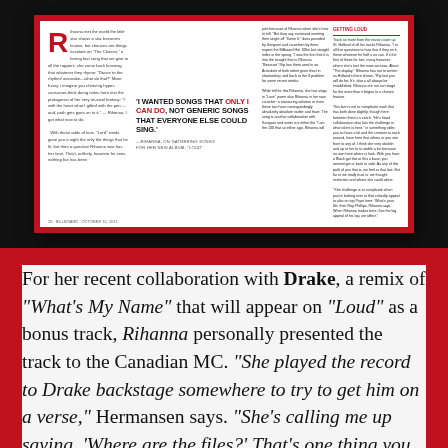[Figure (photo): Magazine spread showing a Rihanna article with a large pull quote: 'I WANTED SONGS THAT ONLY I CAN DO, NOT GENERIC SONGS THAT EVERYONE ELSE COULD SING.' attributed to Rihanna on gathering songs for her new album 'LOUD', with columns of article text on either side.]
For her recent collaboration with Drake, a remix of "What's My Name" that will appear on "Loud" as a bonus track, Rihanna personally presented the track to the Canadian MC. "She played the record to Drake backstage somewhere to try to get him on a verse," Hermansen says. "She's calling me up saying, 'Where are the files?' That's one thing you don't hear often from artists on her level."